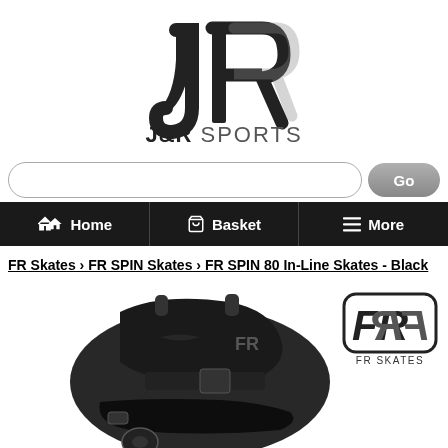[Figure (logo): J&R Sports logo with stylized JR monogram in black and grey above the text J&R SPORTS]
[Figure (screenshot): Search bar input field with Go button]
[Figure (screenshot): Navigation bar with Home, Basket, More links on dark background]
FR Skates › FR SPIN Skates › FR SPIN 80 In-Line Skates - Black
[Figure (photo): Close-up photo of black FR SPIN 80 inline skate boot]
[Figure (logo): FR Skates brand logo with stylized FR letters and FR SKATES text below]